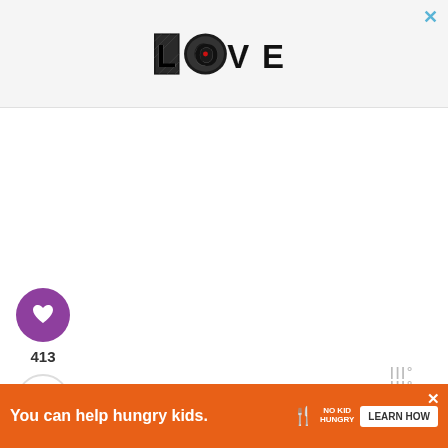[Figure (logo): LOVE logo with decorative black-and-white illustrated letters, red dot in O]
[Figure (other): Purple circular heart/favorite button]
413
[Figure (other): Share button (circle with share icon)]
[Figure (other): Whisk watermark logo top right]
[Figure (photo): Gray food photography background with partial gold/tan bowl visible]
[Figure (other): What's Next promo card: Poblano Mexican Str... with food thumbnail]
[Figure (other): Bottom advertisement banner: You can help hungry kids. No Kid Hungry. LEARN HOW]
[Figure (other): Whisk watermark logo bottom right]